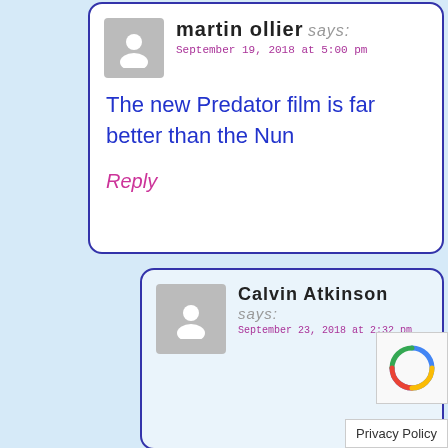martin ollier says:
September 19, 2018 at 5:00 pm
The new Predator film is far better than the Nun
Reply
Calvin Atkinson says:
September 23, 2018 at 2:32 pm
Privacy Policy